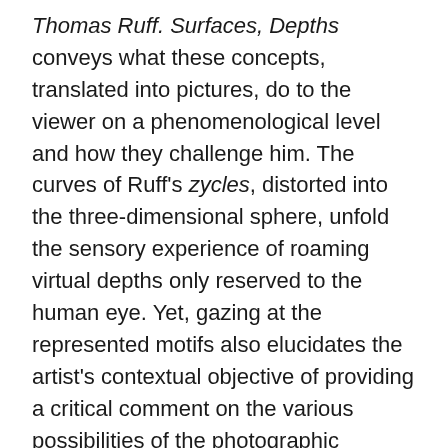Thomas Ruff. Surfaces, Depths conveys what these concepts, translated into pictures, do to the viewer on a phenomenological level and how they challenge him. The curves of Ruff's zycles, distorted into the three-dimensional sphere, unfold the sensory experience of roaming virtual depths only reserved to the human eye. Yet, gazing at the represented motifs also elucidates the artist's contextual objective of providing a critical comment on the various possibilities of the photographic apparatus to depict and manipulate reality.
Press release from the Kunsthalle Wien website [Online] Cited 24/05/2009 no longer available online
Thomas Ruff numbers among today's most important photographers, his oeuvre encompassing such diverse